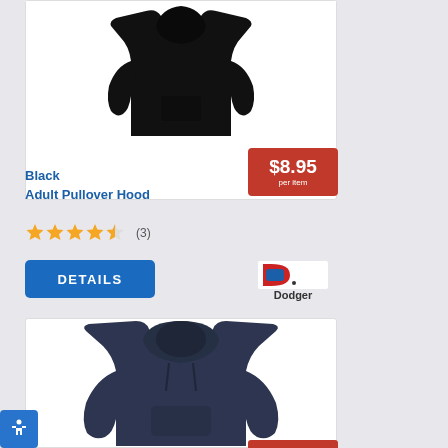[Figure (photo): Black adult pullover hoodie sweatshirt product photo on white background, cropped showing upper portion]
$8.95 per item
Black Adult Pullover Hood
★★★★½ (3)
DETAILS
[Figure (logo): Dodger brand logo with red and blue D icon]
[Figure (photo): Navy blue adult pullover hoodie sweatshirt product photo on white background]